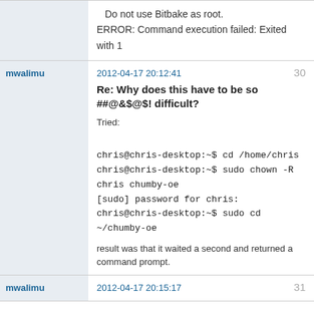Do not use Bitbake as root.
ERROR: Command execution failed: Exited with 1
mwalimu
2012-04-17 20:12:41
30
Re: Why does this have to be so ##@&$@$! difficult?
Tried:

chris@chris-desktop:~$ cd /home/chris
chris@chris-desktop:~$ sudo chown -R chris chumby-oe
[sudo] password for chris:
chris@chris-desktop:~$ sudo cd ~/chumby-oe

result was that it waited a second and returned a command prompt.
mwalimu
2012-04-17 20:15:17
31